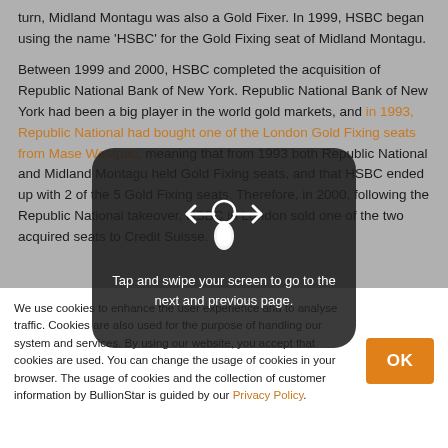turn, Midland Montagu was also a Gold Fixer. In 1999, HSBC began using the name 'HSBC' for the Gold Fixing seat of Midland Montagu.
Between 1999 and 2000, HSBC completed the acquisition of Republic National Bank of New York. Republic National Bank of New York had been a big player in the world gold markets, and in 1993, Republic National had bought one of the London Gold Fixing seats from Mase Westpac, meaning that from 1993 both Republic National and Midland Montagu held Gold Fixing seats, and that HSBC ended up with 2 of the 5 Gold Fixing seats. Therefore, in 2000, following the Republic National takeover, HSBC in London sold one of the two acquired seats to Credit Suisse.
[Figure (infographic): Rounded rectangle overlay with hand/swipe icon and arrows pointing left and right, with text: 'Tap and swipe your screen to go to the next and previous page.']
I also have always thought that the HSBC vault is in central
We use cookies to enhance the user experience and to analyse traffic. Cookies are also used for the purpose of handling our system and services. By using our website, you accept that cookies are used. You can change the usage of cookies in your browser. The usage of cookies and the collection of customer information by BullionStar is guided by our Privacy Policy.